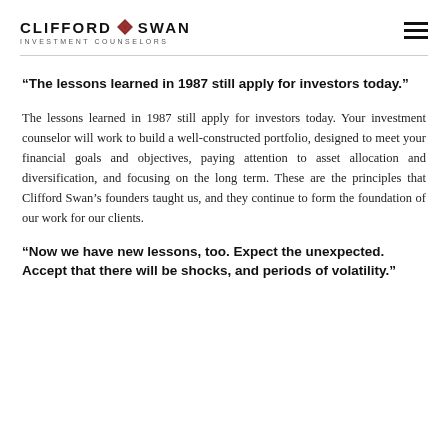CLIFFORD SWAN INVESTMENT COUNSELORS
“The lessons learned in 1987 still apply for investors today.”
The lessons learned in 1987 still apply for investors today. Your investment counselor will work to build a well-constructed portfolio, designed to meet your financial goals and objectives, paying attention to asset allocation and diversification, and focusing on the long term. These are the principles that Clifford Swan’s founders taught us, and they continue to form the foundation of our work for our clients.
“Now we have new lessons, too. Expect the unexpected. Accept that there will be shocks, and periods of volatility.”